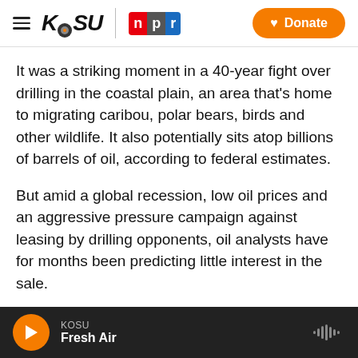KOSU | NPR  Donate
It was a striking moment in a 40-year fight over drilling in the coastal plain, an area that's home to migrating caribou, polar bears, birds and other wildlife. It also potentially sits atop billions of barrels of oil, according to federal estimates.
But amid a global recession, low oil prices and an aggressive pressure campaign against leasing by drilling opponents, oil analysts have for months been predicting little interest in the sale.
Persily took the sale as evidence that while drilling in the refuge remains a long-held dream of some
KOSU  Fresh Air